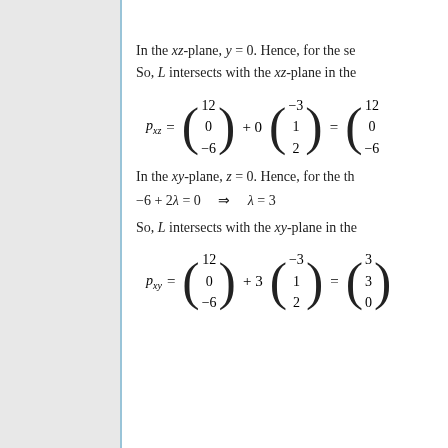In the xz-plane, y = 0. Hence, for the se...
So, L intersects with the xz-plane in the...
In the xy-plane, z = 0. Hence, for the th...
So, L intersects with the xy-plane in the...